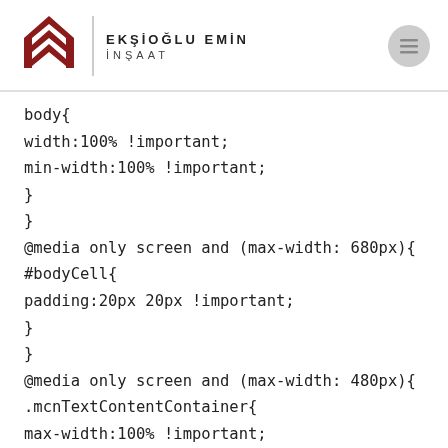EKŞİOĞLU EMİN İNŞAAT
body{
width:100% !important;
min-width:100% !important;
}
}
@media only screen and (max-width: 680px){
#bodyCell{
padding:20px 20px !important;
}
}
@media only screen and (max-width: 480px){
.mcnTextContentContainer{
max-width:100% !important;
width:100% !important;